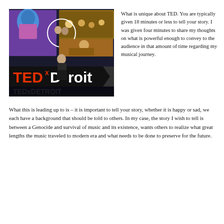[Figure (photo): TEDxDetroit stage photo with a speaker at a podium. Behind him is a large screen showing multiple people at events. The TEDxDetroit logo is visible in large letters on the stage front.]
What is unique about TED. You are typically given 18 minutes or less to tell your story. I was given four minutes to share my thoughts on what is powerful enough to convey to the audience in that amount of time regarding my musical journey.
What this is leading up to is – it is important to tell your story, whether it is happy or sad, we each have a background that should be told to others. In my case, the story I wish to tell is between a Genocide and survival of music and its existence, wants others to realize what great lengths the music traveled to modern era and what needs to be done to preserve for the future.